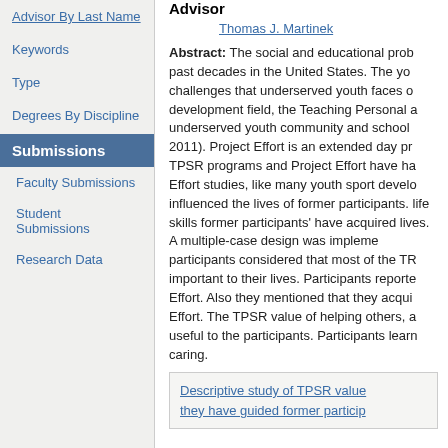Advisor By Last Name
Keywords
Type
Degrees By Discipline
Submissions
Faculty Submissions
Student Submissions
Research Data
Advisor
Thomas J. Martinek
Abstract: The social and educational prob past decades in the United States. The yo challenges that underserved youth faces o development field, the Teaching Personal a underserved youth community and school 2011). Project Effort is an extended day pr TPSR programs and Project Effort have ha Effort studies, like many youth sport develo influenced the lives of former participants. life skills former participants' have acquired lives. A multiple-case design was impleme participants considered that most of the TR important to their lives. Participants reporte Effort. Also they mentioned that they acqui Effort. The TPSR value of helping others, a useful to the participants. Participants learn caring.
Descriptive study of TPSR value they have guided former particip